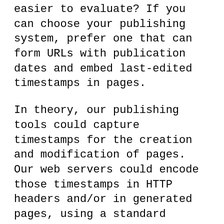easier to evaluate? If you can choose your publishing system, prefer one that can form URLs with publication dates and embed last-edited timestamps in pages.
In theory, our publishing tools could capture timestamps for the creation and modification of pages. Our web servers could encode those timestamps in HTTP headers and/or in generated pages, using a standard format. Search engines could use those timestamps to reliably sort results. And we could all much more easily evaluate the currency of those results.
In practice that's not going to happen anytime soon. Makers of publishing tools, servers, and search engines would have to agree on a standard approach and form a critical mass in support of it. Don't hold your breath waiting.
Can we do better? We spoke today about the web's